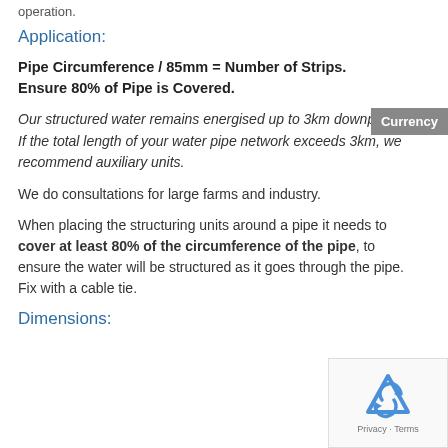operation.
Application:
Pipe Circumference / 85mm = Number of Strips. Ensure 80% of Pipe is Covered.
Our structured water remains energised up to 3km downpipe. If the total length of your water pipe network exceeds 3km, we recommend auxiliary units.
We do consultations for large farms and industry.
When placing the structuring units around a pipe it needs to cover at least 80% of the circumference of the pipe, to ensure the water will be structured as it goes through the pipe. Fix with a cable tie.
Dimensions: